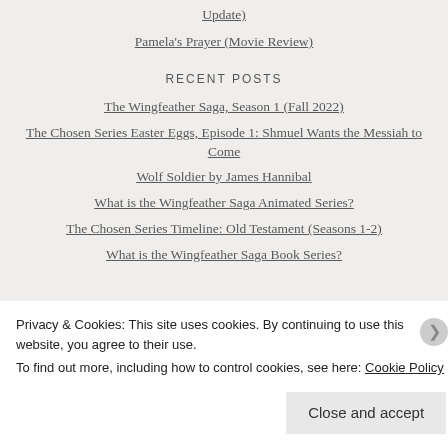Update)
Pamela's Prayer (Movie Review)
RECENT POSTS
The Wingfeather Saga, Season 1 (Fall 2022)
The Chosen Series Easter Eggs, Episode 1: Shmuel Wants the Messiah to Come
Wolf Soldier by James Hannibal
What is the Wingfeather Saga Animated Series?
The Chosen Series Timeline: Old Testament (Seasons 1-2)
What is the Wingfeather Saga Book Series?
Privacy & Cookies: This site uses cookies. By continuing to use this website, you agree to their use.
To find out more, including how to control cookies, see here: Cookie Policy
Close and accept